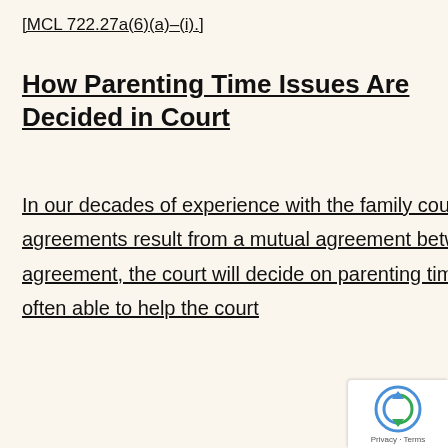[MCL 722.27a(6)(a)-(i).]
How Parenting Time Issues Are Decided in Court
In our decades of experience with the family courts in Oakland County, we often see parenting time agreements result from a mutual agreement between the parents. When parents cannot come to an agreement, the court will decide on parenting time. Throughout Michigan, the Friend of the Court is often able to help the court